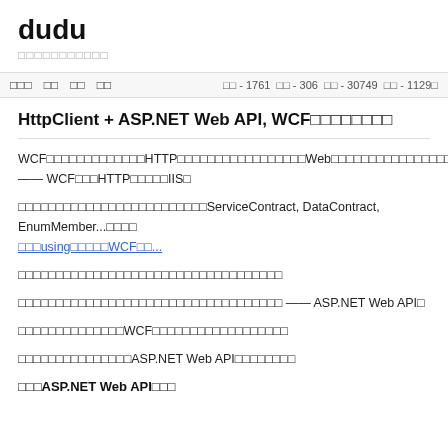dudu
□□□□□□□□□□□
□□□  □□  □□  □□    □□ - 1761  □□ - 306  □□ - 30749  □□ - 11290
HttpClient + ASP.NET Web API, WCF□□□□□□□□
WCF□□□□□□□□□□□□□HTTP□□□□□□□□□□□□□□□□□Web□□□□□□□□□□□□□□□□ —— WCF□□□HTTP□□□□□IIS□
□□□□□□□□□□□□□□□□□□□□□□□□□ServiceContract, DataContract, EnumMember...□□□□□□□using□□□□□WCF□□...
□□□□□□□□□□□□□□□□□□□□□□□□□□□□□□□□□□□
□□□□□□□□□□□□□□□□□□□□□□□□□□□□□□□□□□□ —— ASP.NET Web API□
□□□□□□□□□□□□□□WCF□□□□□□□□□□□□□□□□□□
□□□□□□□□□□□□□□□ASP.NET Web API□□□□□□□□
□□□ASP.NET Web API□□□